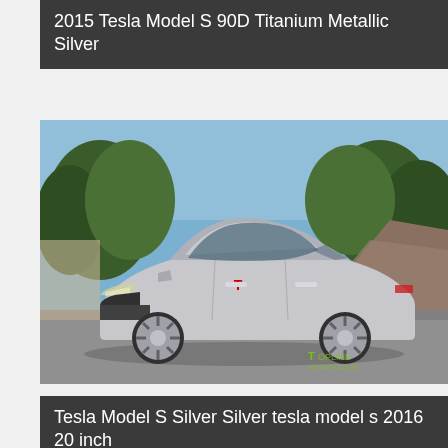2015 Tesla Model S 90D Titanium Metallic Silver
[Figure (photo): Silver 2015 Tesla Model S 90D photographed outdoors from a front three-quarter angle on a road, with trees and rocky hillside in background. A watermark reads 'T TOPLINE' in green text.]
Tesla Model S Silver Silver tesla model s 2016 20 inch
[Figure (photo): Partial view of another Tesla Model S photo card at the bottom of the page, partially cropped.]